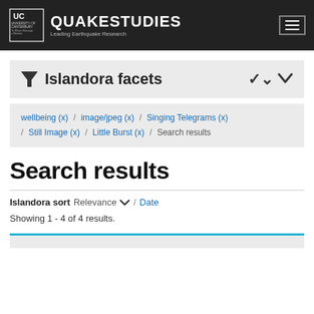QUAKESTUDIES — Leading Earthquake Research
Islandora facets
wellbeing (x) / image/jpeg (x) / Singing Telegrams (x) / Still Image (x) / Little Burst (x) / Search results
Search results
Islandora sort Relevance ▾ / Date
Showing 1 - 4 of 4 results.